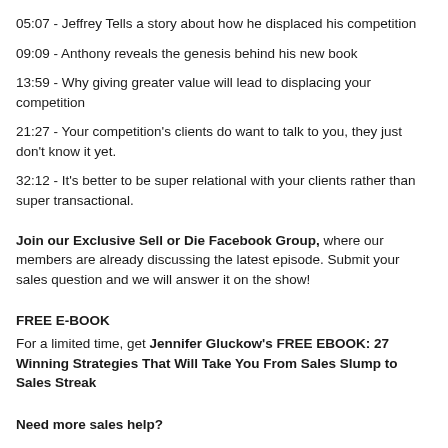05:07 - Jeffrey Tells a story about how he displaced his competition
09:09 - Anthony reveals the genesis behind his new book
13:59 - Why giving greater value will lead to displacing your competition
21:27 - Your competition's clients do want to talk to you, they just don't know it yet.
32:12 - It's better to be super relational with your clients rather than super transactional.
Join our Exclusive Sell or Die Facebook Group, where our members are already discussing the latest episode. Submit your sales question and we will answer it on the show!
FREE E-BOOK
For a limited time, get Jennifer Gluckow's FREE EBOOK: 27 Winning Strategies That Will Take You From Sales Slump to Sales Streak
Need more sales help?